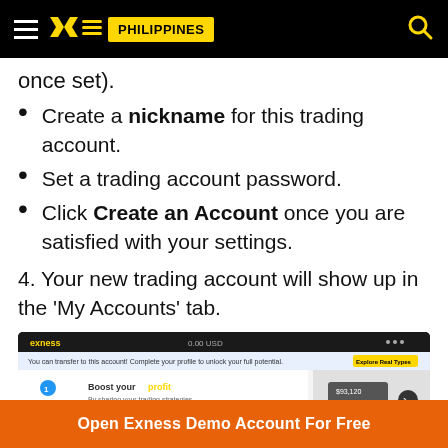Exness Philippines
once set).
Create a nickname for this trading account.
Set a trading account password.
Click Create an Account once you are satisfied with your settings.
4. Your new trading account will show up in the 'My Accounts' tab.
[Figure (screenshot): Screenshot of Exness trading platform showing My Accounts tab with Real and Demo tabs, Boost your profit section, and a Forex account entry.]
Open Exness Demo Account For Free